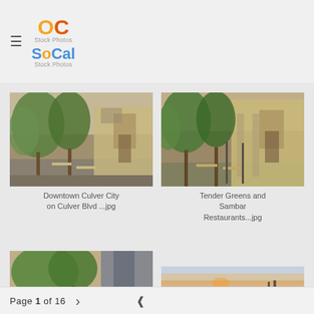[Figure (logo): OC Stock Photos / SoCal Stock Photos logo with hamburger menu icon]
[Figure (photo): Downtown Culver City outdoor restaurant/retail area with trees along Culver Blvd]
Downtown Culver City on Culver Blvd ...jpg
[Figure (photo): Tender Greens and Sambar Restaurants outdoor seating area with trees]
Tender Greens and Sambar Restaurants...jpg
[Figure (photo): Partial photo of building with trees (bottom left, cropped)]
[Figure (photo): Coastal sunset scene with pier (bottom right, partially visible)]
Page 1 of 16